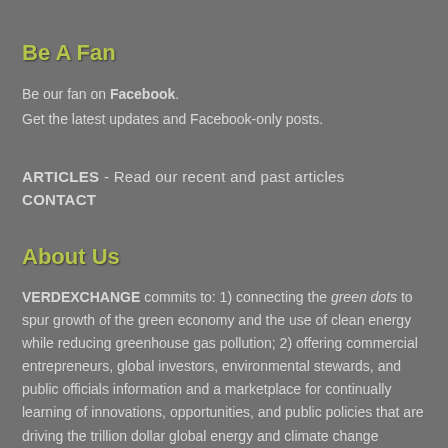Be A Fan
Be our fan on Facebook.
Get the latest updates and Facebook-only posts.
ARTICLES - Read our recent and past articles
CONTACT
About Us
VERDEXCHANGE commits to: 1) connecting the green dots to spur growth of the green economy and the use of clean energy while reducing greenhouse gas pollution; 2) offering commercial entrepreneurs, global investors, environmental stewards, and public officials information and a marketplace for continually learning of innovations, opportunities, and public policies that are driving the trillion dollar global energy and climate change